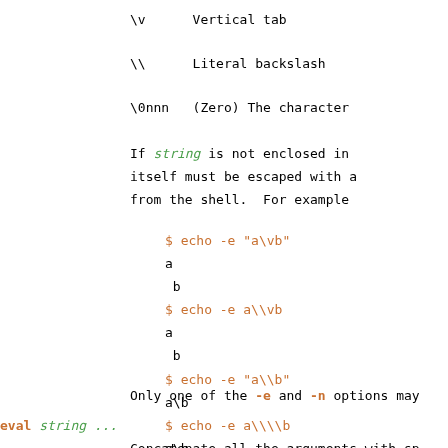\v      Vertical tab
\\      Literal backslash
\0nnn   (Zero) The character
If string is not enclosed in itself must be escaped with a from the shell.  For example
$ echo -e "a\vb"
a
 b
$ echo -e a\\vb
a
 b
$ echo -e "a\\b"
a\b
$ echo -e a\\\\b
a\b
Only one of the -e and -n options may
eval string ...
     Concatenate all the arguments with sp ecute the command.